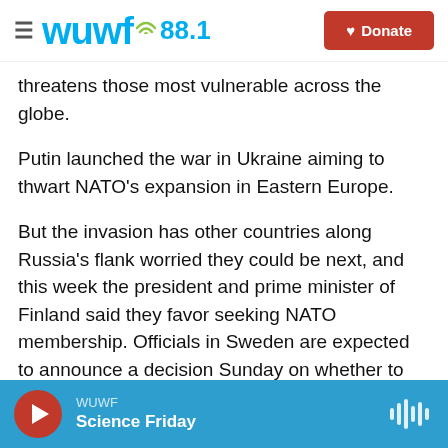WUWF 88.1 — Donate
threatens those most vulnerable across the globe.
Putin launched the war in Ukraine aiming to thwart NATO's expansion in Eastern Europe.
But the invasion has other countries along Russia's flank worried they could be next, and this week the president and prime minister of Finland said they favor seeking NATO membership. Officials in Sweden are expected to announce a decision Sunday on whether to apply to join the Western military alliance.
In a phone call Saturday, Putin told Finnish
WUWF — Science Friday